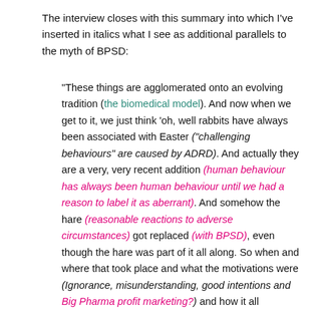The interview closes with this summary into which I've inserted in italics what I see as additional parallels to the myth of BPSD:
“These things are agglomerated onto an evolving tradition (the biomedical model). And now when we get to it, we just think ‘oh, well rabbits have always been associated with Easter (“challenging behaviours” are caused by ADRD). And actually they are a very, very recent addition (human behaviour has always been human behaviour until we had a reason to label it as aberrant). And somehow the hare (reasonable reactions to adverse circumstances) got replaced (with BPSD), even though the hare was part of it all along. So when and where that took place and what the motivations were (Ignorance, misunderstanding, good intentions and Big Pharma profit marketing?) and how it all happened (Ignorance, misunderstanding, good intentions and Big Pharma profit marketing?)